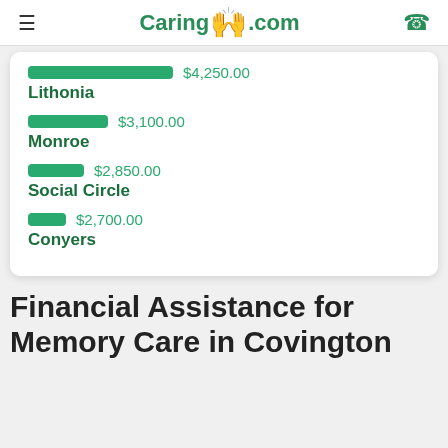Caring.com
[Figure (bar-chart): Memory Care costs by city]
Financial Assistance for Memory Care in Covington